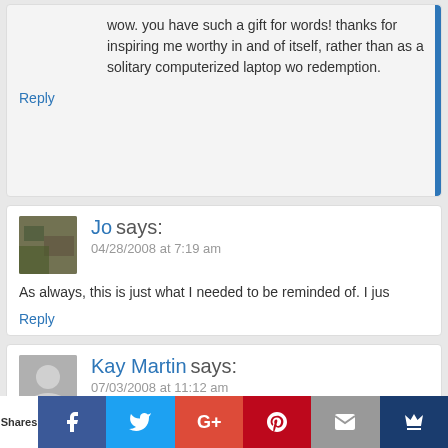wow. you have such a gift for words! thanks for inspiring me worthy in and of itself, rather than as a solitary computerized laptop wo redemption.
Reply
Jo says: 04/28/2008 at 7:19 am
As always, this is just what I needed to be reminded of. I jus
Reply
Kay Martin says: 07/03/2008 at 11:12 am
Just found your site and love it.
You said:
We hope to pass on an ability to see. From your own dangerous adver how to see their world, others, themselves, and God, how to see the d the desire to search it out, and the sight with which to understand.
Shares